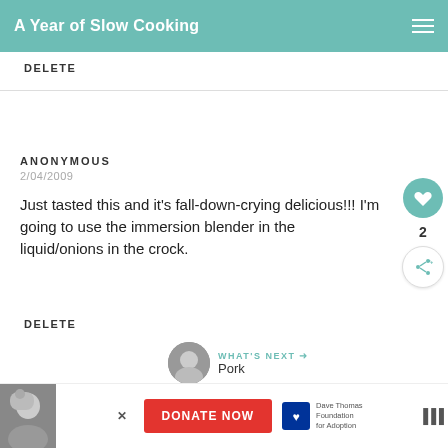A Year of Slow Cooking
DELETE
ANONYMOUS
2/04/2009
Just tasted this and it's fall-down-crying delicious!!! I'm going to use the immersion blender in the liquid/onions in the crock.
DELETE
WHAT'S NEXT → Pork
[Figure (screenshot): Advertisement banner with DONATE NOW button for Dave Thomas Foundation for Adoption]
2